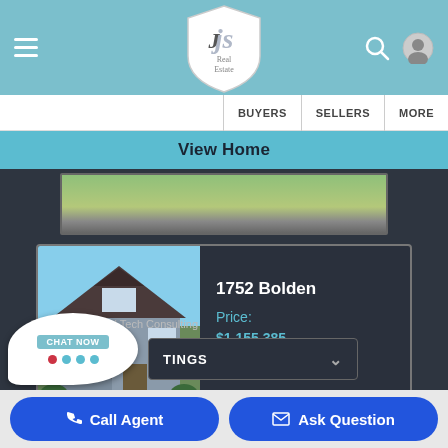[Figure (screenshot): Real estate website header with JS Real Estate logo, hamburger menu, search icon, user icon on teal background]
BUYERS | SELLERS | MORE
View Home
[Figure (screenshot): Property listing card showing house photo, address 1752 Bolden, Price: $1,155,385, Beds: 4]
1752 Bolden
Price: $1,155,385
Beds: 4
SITE BY: Wizard Tech Consulting
[Figure (screenshot): Chat Now bubble widget with pink and blue dots]
TINGS
Call Agent
Ask Question